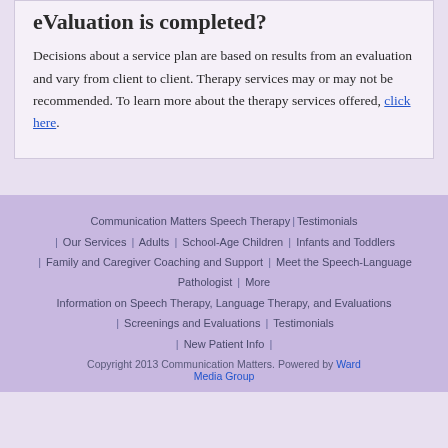eValuation is completed?
Decisions about a service plan are based on results from an evaluation and vary from client to client. Therapy services may or may not be recommended. To learn more about the therapy services offered, click here.
Communication Matters Speech Therapy | Testimonials | Our Services | Adults | School-Age Children | Infants and Toddlers | Family and Caregiver Coaching and Support | Meet the Speech-Language Pathologist | More Information on Speech Therapy, Language Therapy, and Evaluations | Screenings and Evaluations | Testimonials | New Patient Info | Copyright 2013 Communication Matters. Powered by Ward Media Group